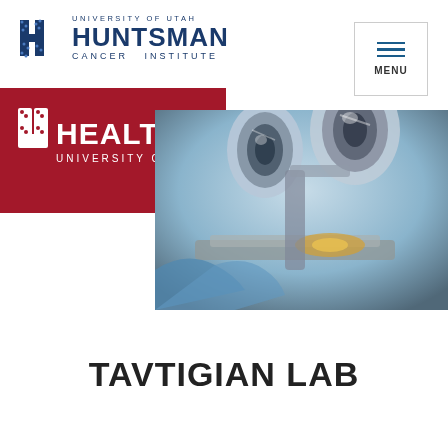[Figure (logo): Huntsman Cancer Institute, University of Utah logo with DNA helix icon in dark blue]
[Figure (logo): Menu button with three horizontal lines and MENU text, bordered box]
[Figure (logo): U Health University of Utah logo on dark red/maroon background]
[Figure (photo): Close-up photograph of laboratory microscopes with blue-gloved hands, metallic surfaces and warm light]
TAVTIGIAN LAB